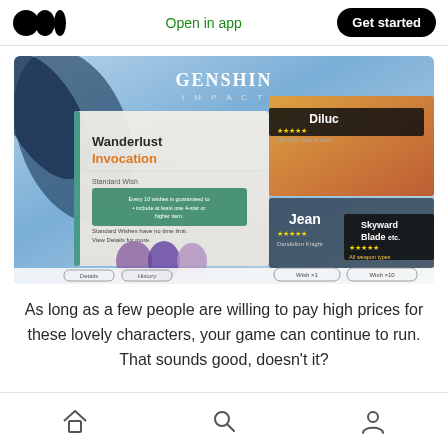Medium logo | Open in app | Get started
[Figure (screenshot): Genshin Impact gacha game screen showing Wanderlust Invocation wish banner with characters Jean and Diluc, and weapon Skyward Blade. Shows Standard Wish description text, Details/History buttons, and Wish x1 / Wish x10 options.]
As long as a few people are willing to pay high prices for these lovely characters, your game can continue to run. That sounds good, doesn't it?
Home | Search | Profile navigation icons